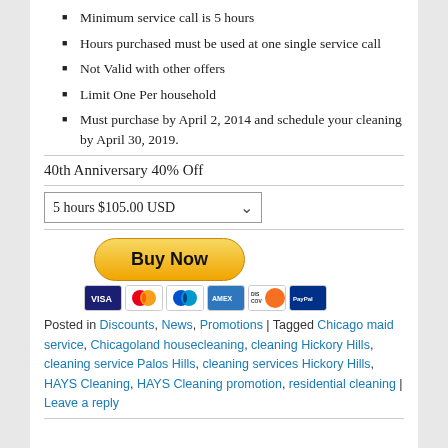Minimum service call is 5 hours
Hours purchased must be used at one single service call
Not Valid with other offers
Limit One Per household
Must purchase by April 2, 2014 and schedule your cleaning by April 30, 2019.
40th Anniversary 40% Off
5 hours $105.00 USD
[Figure (other): Buy Now PayPal button with credit card icons (VISA, MasterCard, American Express, Discover, and another card)]
Posted in Discounts, News, Promotions | Tagged Chicago maid service, Chicagoland housecleaning, cleaning Hickory Hills, cleaning service Palos Hills, cleaning services Hickory Hills, HAYS Cleaning, HAYS Cleaning promotion, residential cleaning | Leave a reply